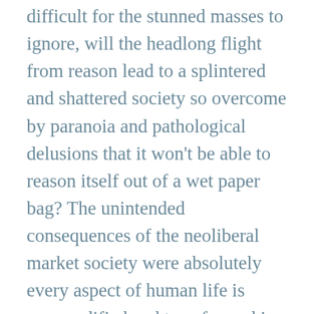difficult for the stunned masses to ignore, will the headlong flight from reason lead to a splintered and shattered society so overcome by paranoia and pathological delusions that it won't be able to reason itself out of a wet paper bag? The unintended consequences of the neoliberal market society were absolutely every aspect of human life is commodified and transformed in ways that render it amendable to economic calculation might well be a new dark age of the sort Jane Jacobs wrote about in her book, titled fittingly enough, Dark Age Ahead.